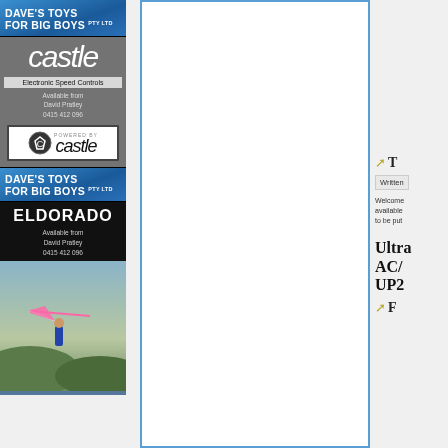[Figure (advertisement): Dave's Toys For Big Boys advertisement with Castle Electronic Speed Controls logo, grey background, powered by castle badge, and contact info: David Pratley 0415 412 096]
[Figure (advertisement): Dave's Toys For Big Boys with Eldorado product ad, black background, photo of person with RC glider on hillside, contact: David Pratley 0415 412 096]
[Figure (photo): Large image box with blue border, mostly white/empty - article image placeholder]
T
Written
Welcome available to be put
Ultra AC/ UP2
F